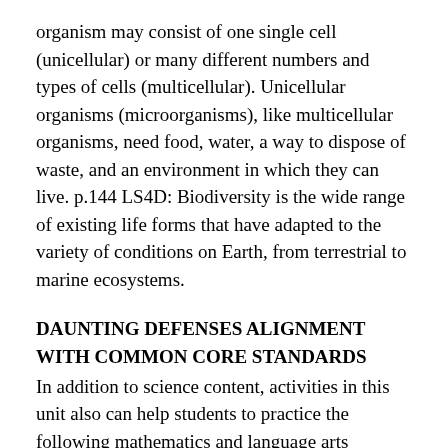organism may consist of one single cell (unicellular) or many different numbers and types of cells (multicellular). Unicellular organisms (microorganisms), like multicellular organisms, need food, water, a way to dispose of waste, and an environment in which they can live. p.144 LS4D: Biodiversity is the wide range of existing life forms that have adapted to the variety of conditions on Earth, from terrestrial to marine ecosystems.
DAUNTING DEFENSES ALIGNMENT WITH COMMON CORE STANDARDS
In addition to science content, activities in this unit also can help students to practice the following mathematics and language arts concepts. The Common Core Standards listed here are in addition to the ones that our activities typically address, as listed in the Four Winds document, The Nature Program: Alignment with Learning Standards